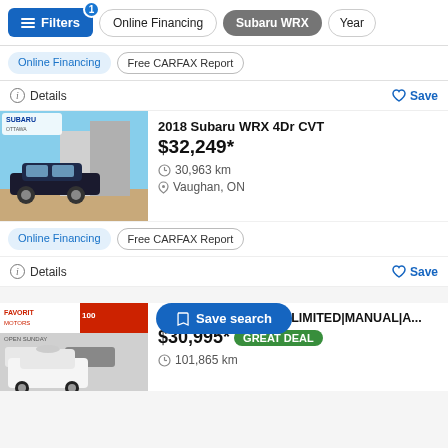Filters 1 | Online Financing | Subaru WRX | Year
Online Financing | Free CARFAX Report
Details | Save
[Figure (photo): Photo of a black Subaru WRX parked outside a Subaru dealership]
2018 Subaru WRX 4Dr CVT
$32,249*
30,963 km
Vaughan, ON
Online Financing | Free CARFAX Report
Details | Save
Save search
[Figure (photo): Photo of a white Subaru WRX STI at Favorit Motors dealership]
2016 Subaru WRX STi|LIMITED|MANUAL|A...
$30,995* GREAT DEAL
101,865 km